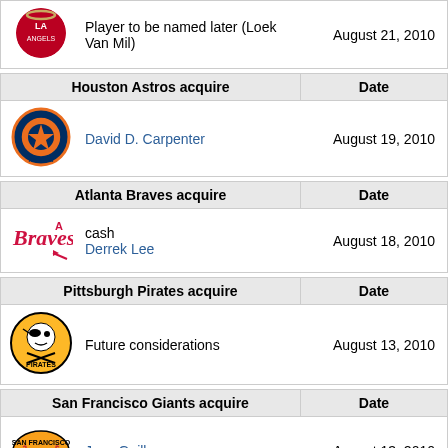| Los Angeles Angels acquire (partial) | Date |
| --- | --- |
| Player to be named later (Loek Van Mil) | August 21, 2010 |
| Houston Astros acquire | Date |
| --- | --- |
| David D. Carpenter | August 19, 2010 |
| Atlanta Braves acquire | Date |
| --- | --- |
| cash
Derrek Lee | August 18, 2010 |
| Pittsburgh Pirates acquire | Date |
| --- | --- |
| Future considerations | August 13, 2010 |
| San Francisco Giants acquire | Date |
| --- | --- |
| Jose Guillen | August 13, 2010 |
| Chicago Cubs acquire | Date |
| --- | --- |
| Evan Crawford | August 11, 2010 |